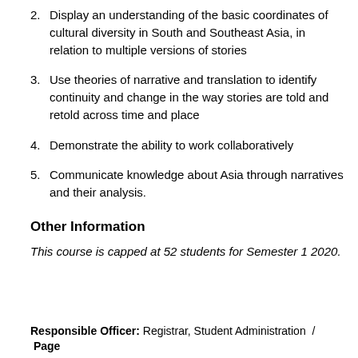2. Display an understanding of the basic coordinates of cultural diversity in South and Southeast Asia, in relation to multiple versions of stories
3. Use theories of narrative and translation to identify continuity and change in the way stories are told and retold across time and place
4. Demonstrate the ability to work collaboratively
5. Communicate knowledge about Asia through narratives and their analysis.
Other Information
This course is capped at 52 students for Semester 1 2020.
Responsible Officer: Registrar, Student Administration / Page